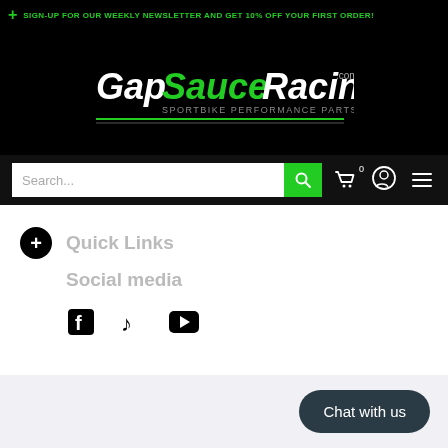SIGN-UP FOR OUR WEEKLY NEWSLETTER AND GET 10% OFF YOUR FIRST ORDER!
[Figure (logo): GapSauceRacing.com logo — white and green italic text, 'SPORTBIKE PERFORMANCE PARTS' tagline, green underline]
Search...
Quick Links
Social media
[Figure (illustration): Social media icons: Facebook, TikTok, YouTube]
Chat with us